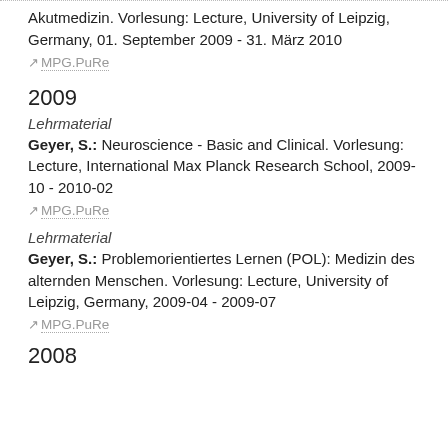Akutmedizin. Vorlesung: Lecture, University of Leipzig, Germany, 01. September 2009 - 31. März 2010
↗ MPG.PuRe
2009
Lehrmaterial
Geyer, S.: Neuroscience - Basic and Clinical. Vorlesung: Lecture, International Max Planck Research School, 2009-10 - 2010-02
↗ MPG.PuRe
Lehrmaterial
Geyer, S.: Problemorientiertes Lernen (POL): Medizin des alternden Menschen. Vorlesung: Lecture, University of Leipzig, Germany, 2009-04 - 2009-07
↗ MPG.PuRe
2008